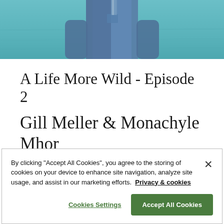[Figure (photo): Partial photo of a person wearing a blue chambray shirt standing in front of teal/blue water, cropped to show torso and lower face only.]
A Life More Wild - Episode 2
Gill Meller & Monachyle Mhor
By clicking "Accept All Cookies", you agree to the storing of cookies on your device to enhance site navigation, analyze site usage, and assist in our marketing efforts.  Privacy & cookies
Cookies Settings
Accept All Cookies